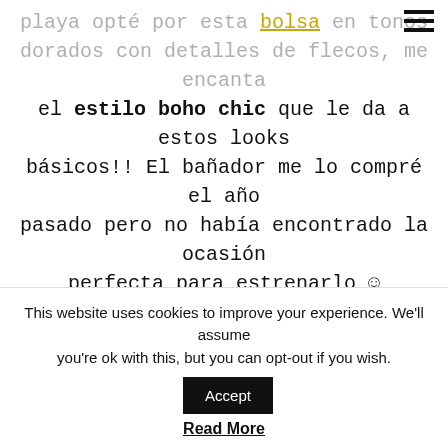playa opté por esta bolsa en tonos dorados con detalles de flecos, me encanta el estilo boho chic que le da a estos looks básicos!! El bañador me lo compré el año pasado pero no había encontrado la ocasión perfecta para estrenarlo ☺
This kind of dresses are perfect to the beach and make shine the swimsuit. I got this look to be sailing by Ibiza, aboard a catamaran and enjoy the beaches around … I didn´t want to bring a classical beach basket so I chose this bag with some gold fringe details, I love the boho chic style
This website uses cookies to improve your experience. We'll assume you're ok with this, but you can opt-out if you wish.
Read More